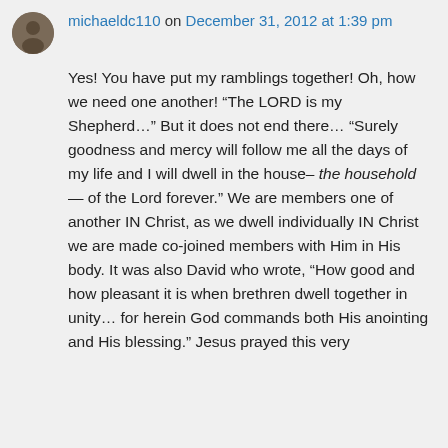michaeldc110 on December 31, 2012 at 1:39 pm
Yes! You have put my ramblings together! Oh, how we need one another! “The LORD is my Shepherd…” But it does not end there… “Surely goodness and mercy will follow me all the days of my life and I will dwell in the house– the household — of the Lord forever.” We are members one of another IN Christ, as we dwell individually IN Christ we are made co-joined members with Him in His body. It was also David who wrote, “How good and how pleasant it is when brethren dwell together in unity… for herein God commands both His anointing and His blessing.” Jesus prayed this very